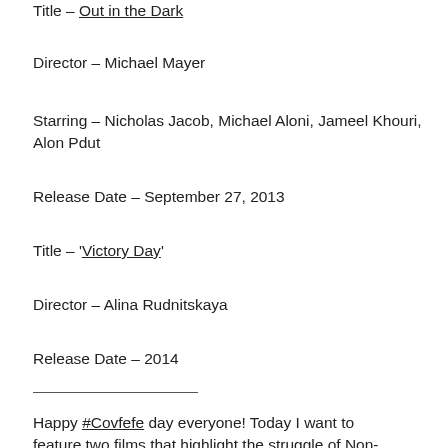Title – Out in the Dark
Director – Michael Mayer
Starring – Nicholas Jacob, Michael Aloni, Jameel Khouri, Alon Pdut
Release Date – September 27, 2013
Title – 'Victory Day'
Director – Alina Rudnitskaya
Release Date – 2014
Happy #Covfefe day everyone! Today I want to feature two films that highlight the struggle of Non-